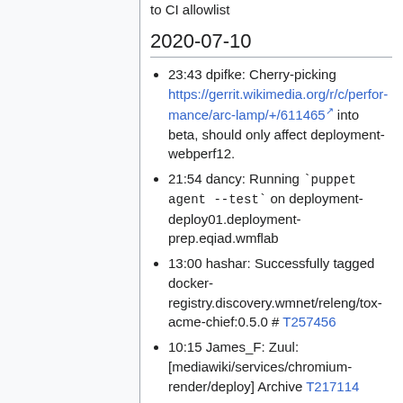to CI allowlist
2020-07-10
23:43 dpifke: Cherry-picking https://gerrit.wikimedia.org/r/c/performance/arc-lamp/+/611465 into beta, should only affect deployment-webperf12.
21:54 dancy: Running `puppet agent --test` on deployment-deploy01.deployment-prep.eqiad.wmflab
13:00 hashar: Successfully tagged docker-registry.discovery.wmnet/releng/tox-acme-chief:0.5.0 # T257456
10:15 James_F: Zuul: [mediawiki/services/chromium-render/deploy] Archive T217114